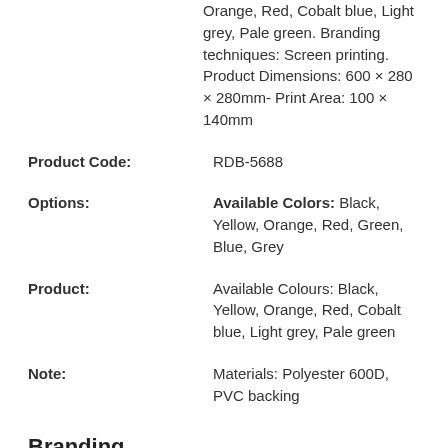Orange, Red, Cobalt blue, Light grey, Pale green. Branding techniques: Screen printing. Product Dimensions: 600 × 280 × 280mm- Print Area: 100 × 140mm
Product Code: RDB-5688
Options: Available Colors: Black, Yellow, Orange, Red, Green, Blue, Grey
Product: Available Colours: Black, Yellow, Orange, Red, Cobalt blue, Light grey, Pale green
Note: Materials: Polyester 600D, PVC backing
Branding
Delivery Information